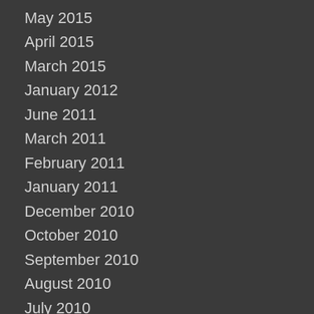May 2015
April 2015
March 2015
January 2012
June 2011
March 2011
February 2011
January 2011
December 2010
October 2010
September 2010
August 2010
July 2010
June 2010
May 2010
April 2010